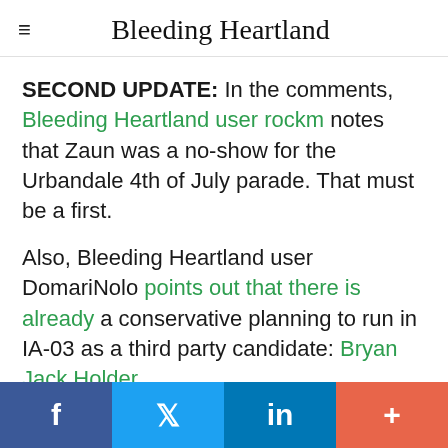Bleeding Heartland
SECOND UPDATE: In the comments, Bleeding Heartland user rockm notes that Zaun was a no-show for the Urbandale 4th of July parade. That must be a first.
Also, Bleeding Heartland user DomariNolo points out that there is already a conservative planning to run in IA-03 as a third party candidate: Bryan Jack Holder.